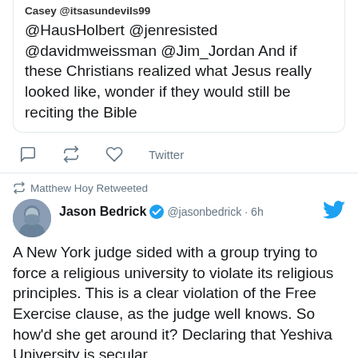[Figure (screenshot): Screenshot of tweets. First tweet (partial, quoted box): 'Casey @itsasundevils99 @HausHolbert @jenresisted @davidmweissman @Jim_Jordan And if these Christians realized what Jesus really looked like, wonder if they would still be reciting the Bible' with Twitter action icons below. Second tweet: 'Matthew Hoy Retweeted' - Jason Bedrick @jasonbedrick 6h: 'A New York judge sided with a group trying to force a religious university to violate its religious principles. This is a clear violation of the Free Exercise clause, as the judge well knows. So how'd she get around it? Declaring that Yeshiva University is secular. No, really.']